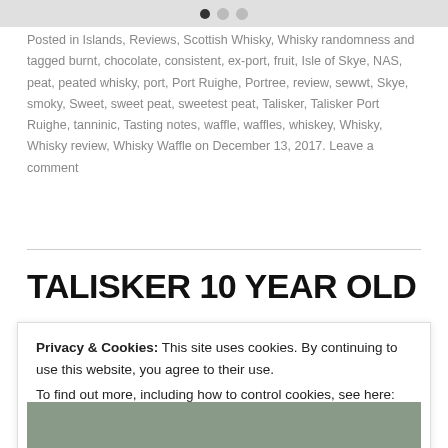[Figure (other): Top image area with pagination dots (filled, empty, empty)]
Posted in Islands, Reviews, Scottish Whisky, Whisky randomness and tagged burnt, chocolate, consistent, ex-port, fruit, Isle of Skye, NAS, peat, peated whisky, port, Port Ruighe, Portree, review, sewwt, Skye, smoky, Sweet, sweet peat, sweetest peat, Talisker, Talisker Port Ruighe, tanninic, Tasting notes, waffle, waffles, whiskey, Whisky, Whisky review, Whisky Waffle on December 13, 2017. Leave a comment
TALISKER 10 YEAR OLD
Privacy & Cookies: This site uses cookies. By continuing to use this website, you agree to their use.
To find out more, including how to control cookies, see here: Cookie Policy
Close and accept